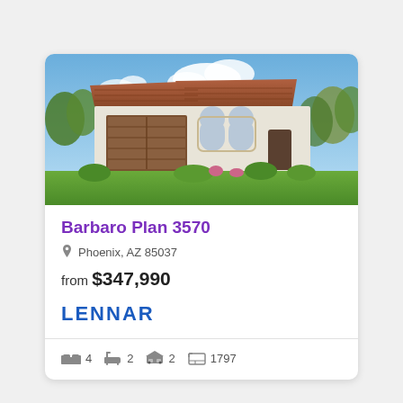[Figure (photo): Exterior photo of a single-story stucco home with a Spanish tile roof, two-car garage with dark brown door, arched windows, and landscaped front yard under a blue sky with white clouds.]
Barbaro Plan 3570
Phoenix, AZ 85037
from $347,990
[Figure (logo): Lennar logo in blue bold text]
4  2  2  1797